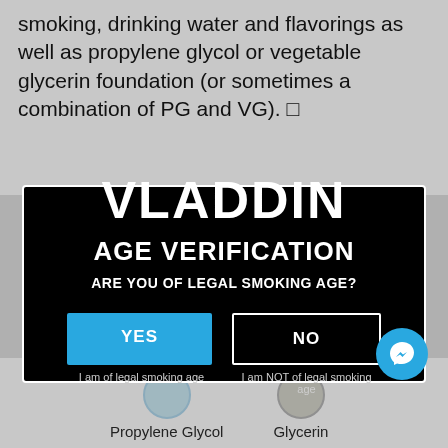smoking, drinking water and flavorings as well as propylene glycol or vegetable glycerin foundation (or sometimes a combination of PG and VG). □
[Figure (screenshot): Age verification modal dialog with VLADDIN brand name, asking 'ARE YOU OF LEGAL SMOKING AGE?' with YES (blue button) and NO (outlined button) options, on a black background with white border]
Propylene Glycol
Glycerin